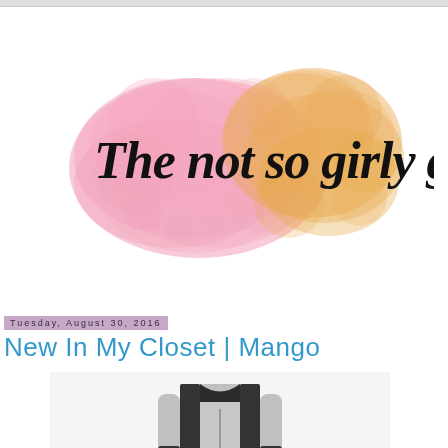[Figure (logo): Blog logo: watercolor pink and orange paint splash background with cursive script text reading 'The not so girly girl']
Tuesday, August 30, 2016
New In My Closet | Mango
[Figure (photo): Product photo of a grey and black jacket/bomber jacket from Mango, partially cropped]